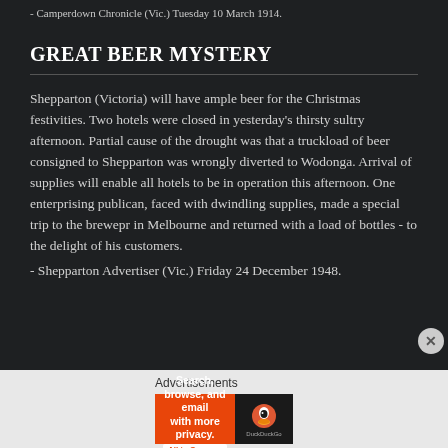- Camperdown Chronicle (Vic.) Tuesday 10 March 1914.
GREAT BEER MYSTERY
Shepparton (Victoria) will have ample beer for the Christmas festivities. Two hotels were closed in yesterday's thirsty sultry afternoon. Partial cause of the drought was that a truckload of beer consigned to Shepparton was wrongly diverted to Wodonga. Arrival of supplies will enable all hotels to be in operation this afternoon. One enterprising publican, faced with dwindling supplies, made a special trip to the brewepr in Melbourne and returned with a load of bottles - to the delight of his customers.
- Shepparton Advertiser (Vic.) Friday 24 December 1948.
Advertisements
[Figure (other): DuckDuckGo advertisement banner: orange section with text 'Search, browse, and email with more privacy. All in One Free App' and dark section with DuckDuckGo duck logo and name.]